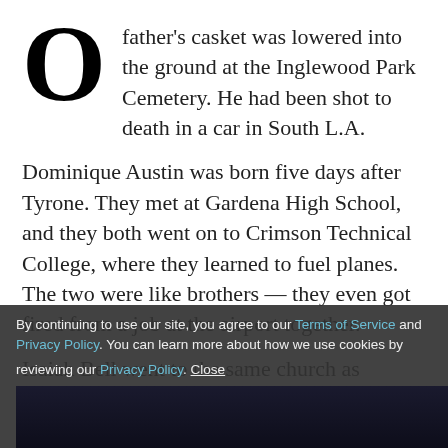O father's casket was lowered into the ground at the Inglewood Park Cemetery. He had been shot to death in a car in South L.A.
Dominique Austin was born five days after Tyrone. They met at Gardena High School, and they both went on to Crimson Technical College, where they learned to fuel planes. The two were like brothers — they even got fired from a job at the airport together.
Isaiah Bell went to the same church as Dominique when they were kids. They lost touch in high school, but reconnected at a funeral for Dominique's 17-year-old cousin. He had been shot to death outside his girlfriend's
By continuing to use our site, you agree to our Terms of Service and Privacy Policy. You can learn more about how we use cookies by reviewing our Privacy Policy. Close